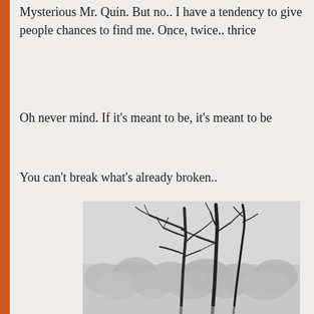Mysterious Mr. Quin. But no.. I have a tendency to give people chances to find me. Once, twice.. thrice
Oh never mind. If it’s meant to be, it’s meant to be
You can’t break what’s already broken..
[Figure (photo): Black and white photograph of bare winter trees with branches blowing in the wind, with a misty forest of snow-covered trees in the background]